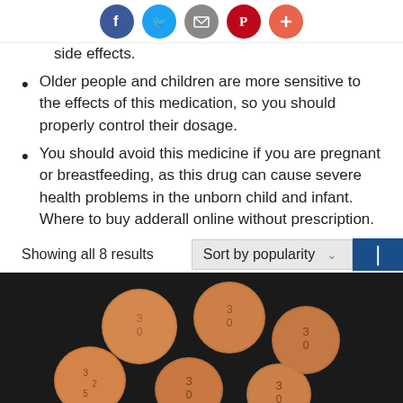[Social share icons: Facebook, Twitter, Email, Pinterest, Plus]
side effects.
Older people and children are more sensitive to the effects of this medication, so you should properly control their dosage.
You should avoid this medicine if you are pregnant or breastfeeding, as this drug can cause severe health problems in the unborn child and infant. Where to buy adderall online without prescription.
Showing all 8 results
Sort by popularity
[Figure (photo): Orange circular pills/tablets arranged on a dark background, each stamped with numbers]